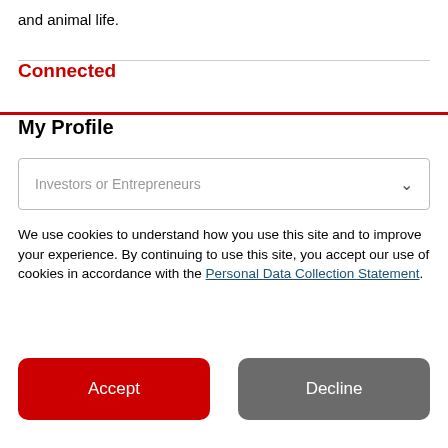and animal life.
Connected
My Profile
Investors or Entrepreneurs
We use cookies to understand how you use this site and to improve your experience. By continuing to use this site, you accept our use of cookies in accordance with the Personal Data Collection Statement.
Accept
Decline